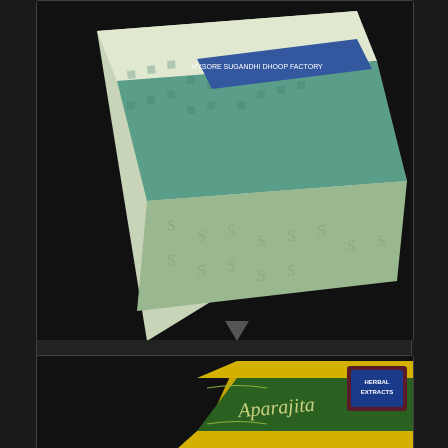[Figure (photo): Product image of MSD Chandan Dhoop incense box, teal/green and white packaging, partially cropped showing top and side of box]
MSD Chandan Dhoop
$2.50
Add to cart
Show Details
[Figure (photo): Product image of Aparajita incense sticks box, yellow and green packaging with gold lettering, diagonal orientation]